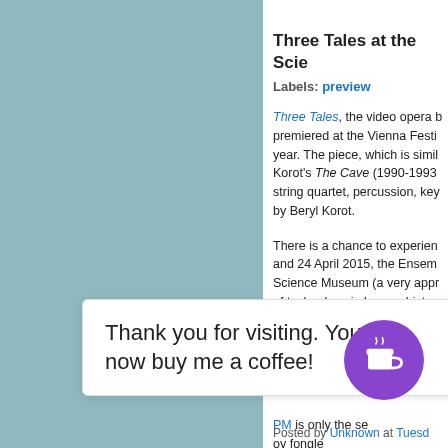Three Tales at the Scie...
Labels: preview
Three Tales, the video opera b... premiered at the Vienna Festi... year. The piece, which is simil... Korot's The Cave (1990-1993... string quartet, percussion, key... by Beryl Korot.
There is a chance to experien... and 24 April 2015, the Ensem... Science Museum (a very appr... of technology in human histor... association with the Institute o... Modern: Science and Culture... weapons in warfare 22 April 1...
Thank you for visiting. You can now buy me a coffee!
PM is only the se... oy fo... ngle... l by... ber...
Posted by Unknown at Tuesd...